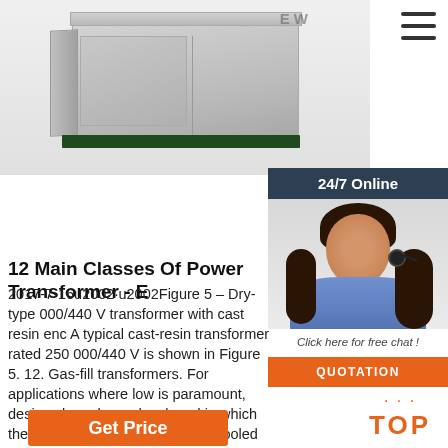[Figure (photo): Dry-type power transformer with cast resin enclosure, light grey cabinet on dark green base]
[Figure (infographic): 24/7 Online chat widget showing a woman with headset, with 'Click here for free chat!' text and QUOTATION button]
12 Main Classes Of Power Transformer - E
2017-7-16u2002·u2002Figure 5 – Dry-type 000/440 V transformer with cast resin enc A typical cast-resin transformer rated 250 000/440 V is shown in Figure 5. 12. Gas-fill transformers. For applications where low is paramount, designs have been developed in which the transformer is insulated and cooled with SF6 gas.
[Figure (infographic): Get Price orange button]
[Figure (infographic): TOP scroll-to-top button with orange dots and text]